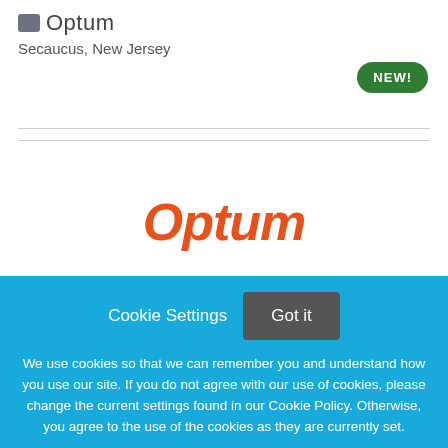Optum
Secaucus, New Jersey
[Figure (other): Green oval badge with text NEW!]
[Figure (logo): Optum logo in orange italic text, partially visible at bottom of white section]
Cookie Settings  Got it
We use cookies so that we can remember you and understand how you use our site. If you do not agree with our use of cookies, please change the current settings found in our Cookie Policy. Otherwise, you agree to the use of the cookies as they are currently set.